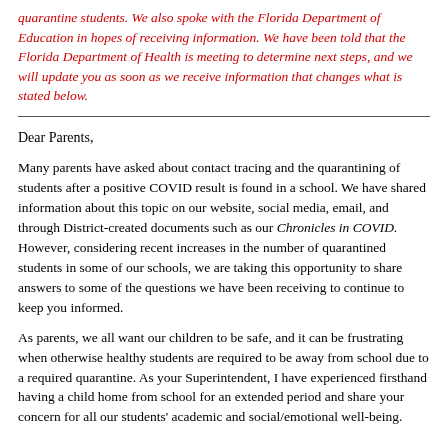quarantine students. We also spoke with the Florida Department of Education in hopes of receiving information. We have been told that the Florida Department of Health is meeting to determine next steps, and we will update you as soon as we receive information that changes what is stated below.
Dear Parents,
Many parents have asked about contact tracing and the quarantining of students after a positive COVID result is found in a school. We have shared information about this topic on our website, social media, email, and through District-created documents such as our Chronicles in COVID. However, considering recent increases in the number of quarantined students in some of our schools, we are taking this opportunity to share answers to some of the questions we have been receiving to continue to keep you informed.
As parents, we all want our children to be safe, and it can be frustrating when otherwise healthy students are required to be away from school due to a required quarantine. As your Superintendent, I have experienced firsthand having a child home from school for an extended period and share your concern for all our students' academic and social/emotional well-being.